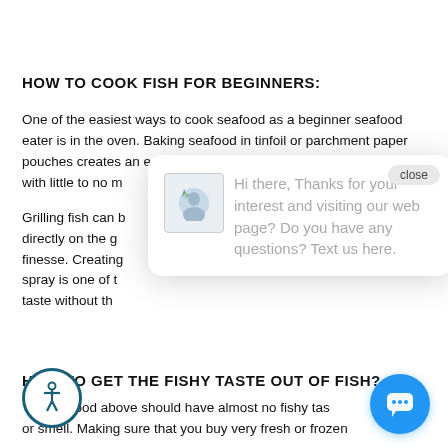HOW TO COOK FISH FOR BEGINNERS:
One of the easiest ways to cook seafood as a beginner seafood eater is in the oven. Baking seafood in tinfoil or parchment paper pouches creates an easy, healthy meal with little to no mess.
Grilling fish can be done by placing the fish directly on the grill, but it does require a bit of finesse. Creating foil packets with a little oil spray is one of the easiest ways to get the grilled taste without the mess.
[Figure (screenshot): Chat popup overlay with avatar image and message: Hi there, Thanks for your interest and visiting our web page? Do you have any questions? Text us here. A close button is visible top right.]
HOW TO GET THE FISHY TASTE OUT OF FISH?
The seafood above should have almost no fishy taste or smell. Making sure that you buy very fresh or frozen